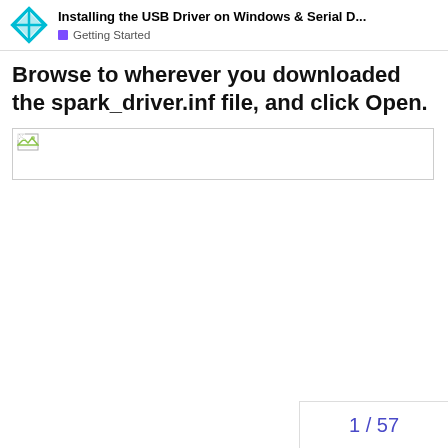Installing the USB Driver on Windows & Serial D... | Getting Started
Browse to wherever you downloaded the spark_driver.inf file, and click Open.
[Figure (screenshot): Broken/missing image placeholder showing a small broken image icon in the top-left corner of a bordered rectangle]
1 / 57